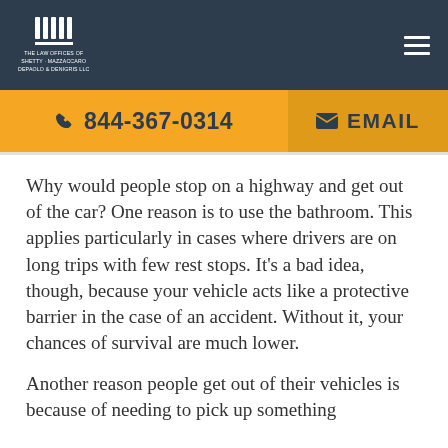[Figure (logo): Law Offices of Shetty Mazzaccaro DePaolo & Denigris logo with column icon and text on dark blue header]
THE LAW OFFICES OF SHETTY · MAZZACCARO DEPAOLO & DENIGRIS LLC
844-367-0314
EMAIL
Why would people stop on a highway and get out of the car? One reason is to use the bathroom. This applies particularly in cases where drivers are on long trips with few rest stops. It's a bad idea, though, because your vehicle acts like a protective barrier in the case of an accident. Without it, your chances of survival are much lower.
Another reason people get out of their vehicles is because of needing to pick up something